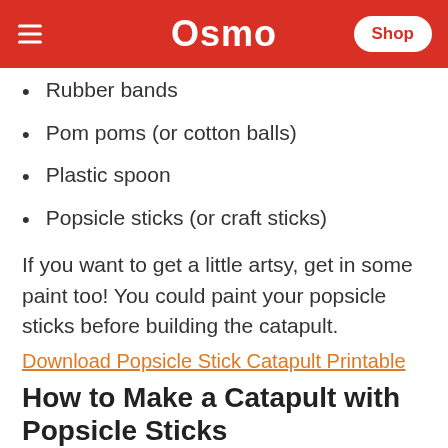Osmo | Shop
Rubber bands
Pom poms (or cotton balls)
Plastic spoon
Popsicle sticks (or craft sticks)
If you want to get a little artsy, get in some paint too! You could paint your popsicle sticks before building the catapult.
Download Popsicle Stick Catapult Printable
How to Make a Catapult with Popsicle Sticks